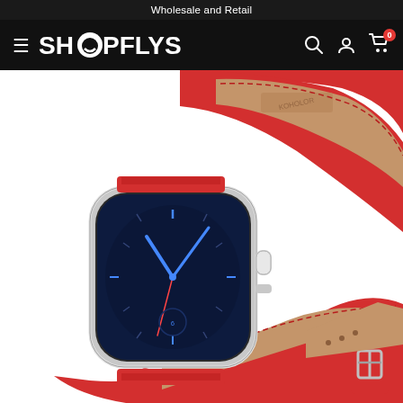Wholesale and Retail
[Figure (logo): SHOPFLYS logo with navigation bar on dark background, including hamburger menu, search, account, and cart icons with badge showing 0]
[Figure (photo): Apple Watch with red leather double-wrap band on white background. The watch has a silver stainless steel case with a dark watch face showing blue analog clock hands. The red leather strap has stitching detail and a silver buckle, with tan/beige interior lining visible.]